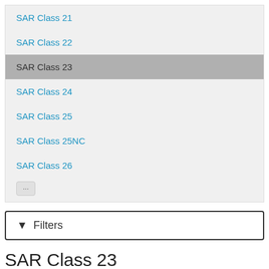SAR Class 21
SAR Class 22
SAR Class 23
SAR Class 24
SAR Class 25
SAR Class 25NC
SAR Class 26
...
▼ Filters
SAR Class 23
|  |  |
| --- | --- |
| Taxonomy | Subjects |
| Hierarchical terms | SAR Class 23: BT Steam |
88 Archival description results for SAR